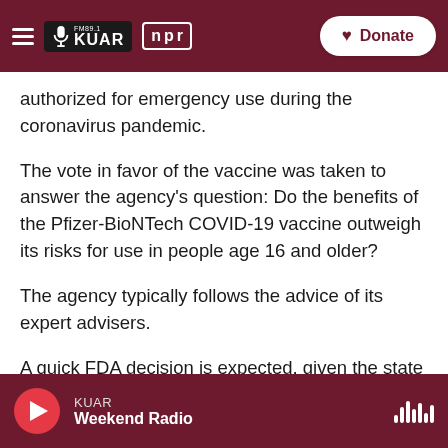FM89.1 KUAR | NPR — Donate
authorized for emergency use during the coronavirus pandemic.
The vote in favor of the vaccine was taken to answer the agency's question: Do the benefits of the Pfizer-BioNTech COVID-19 vaccine outweigh its risks for use in people age 16 and older?
The agency typically follows the advice of its expert advisers.
A quick FDA decision is expected, given the state of the pandemic, the 95% effectiveness of the Pfizer-
KUAR — Weekend Radio